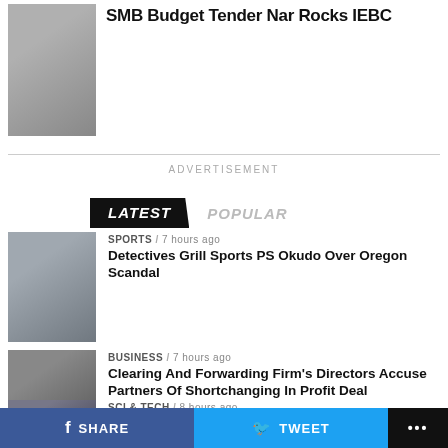[Figure (photo): Photo of a man at a press conference with microphones]
SMB Budget Tender Nar Rocks IEBC
ADVERTISEMENT
LATEST   POPULAR
[Figure (photo): Photo of a man in a blue shirt outdoors with people in background]
SPORTS / 7 hours ago
Detectives Grill Sports PS Okudo Over Oregon Scandal
[Figure (photo): Photo of men wearing masks seated at a table]
BUSINESS / 7 hours ago
Clearing And Forwarding Firm's Directors Accuse Partners Of Shortchanging In Profit Deal
[Figure (photo): Partially visible photo for sci & tech article]
SCI & TECH / 8 hours ago
Ex-Twitter Executive Turned
SHARE   TWEET   ...